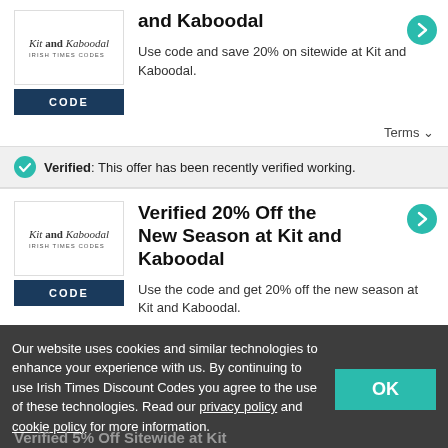and Kaboodal
Use code and save 20% on sitewide at Kit and Kaboodal.
Terms
Verified: This offer has been recently verified working.
Verified 20% Off the New Season at Kit and Kaboodal
Use the code and get 20% off the new season at Kit and Kaboodal.
Our website uses cookies and similar technologies to enhance your experience with us. By continuing to use Irish Times Discount Codes you agree to the use of these technologies. Read our privacy policy and cookie policy for more information.